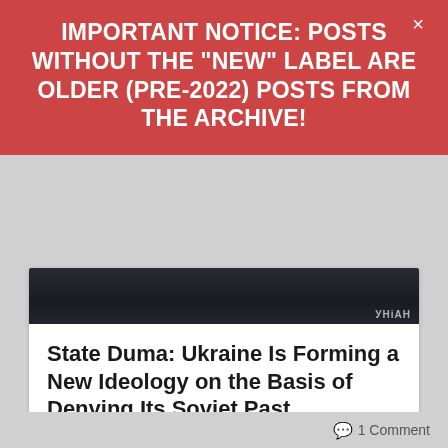IMPORTANT NOTICE: POSTS WITHOUT THE "NEW" LABEL ARE OLDER (PRE-2022) POSTS FROM THE ARCHIVE!
[Figure (photo): Dark sky/landscape photograph strip with УНІАН watermark in bottom-right corner]
State Duma: Ukraine Is Forming a New Ideology on the Basis of Denying Its Soviet Past
Translated by Ollie Richardson  17:02:48 02/04/2018 ria.ru The draft bill on the raising of the red-black flag of the “Organisation of Ukrainian Nationalists – Ukrainian Insurgent…
1 Comment